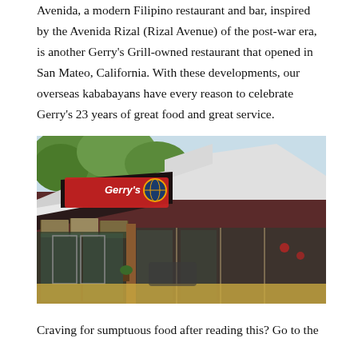Avenida, a modern Filipino restaurant and bar, inspired by the Avenida Rizal (Rizal Avenue) of the post-war era, is another Gerry's Grill-owned restaurant that opened in San Mateo, California. With these developments, our overseas kababayans have every reason to celebrate Gerry's 23 years of great food and great service.
[Figure (photo): Exterior photograph of a Gerry's Grill restaurant building. The building has a distinctive angular roof with dark reddish-brown wood siding. A large Gerry's Grill sign with logo is visible on the upper left of the building. The entrance has glass doors and windows, with a covered canopy area. Trees are visible in the background against a light blue sky.]
Craving for sumptuous food after reading this? Go to the